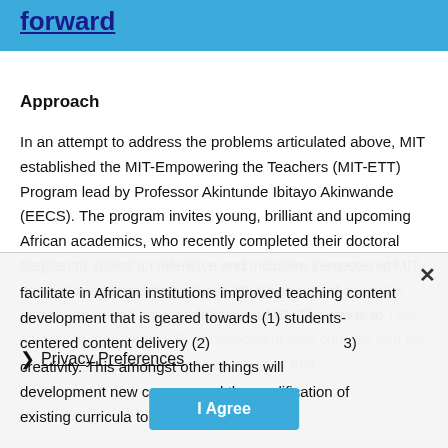forward
Approach
In an attempt to address the problems articulated above, MIT established the MIT-Empowering the Teachers (MIT-ETT) Program lead by Professor Akintunde Ibitayo Akinwande (EECS). The program invites young, brilliant and upcoming African academics, who recently completed their doctoral degree, to spend an intensive and inclusive semester at MIT in a bid to understudy the mode (& dynamics) of curricula development and content delivery at MIT. The aim is to facilitate in African institutions improved teaching content development that is geared towards (1) students-centered content delivery (2) … (3) creativity. This amongst other things will … development new courses and the modification of existing curricula to ones that
Privacy Preferences
I Agree